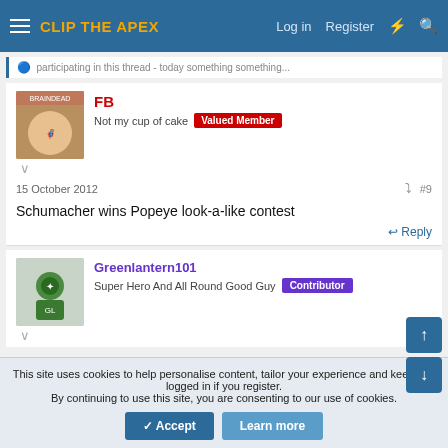CLIP THE APEX | Log in | Register
FB
Not my cup of cake | Valued Member
15 October 2012  #9
Schumacher wins Popeye look-a-like contest
Reply
Greenlantern101
Super Hero And All Round Good Guy | Contributor
This site uses cookies to help personalise content, tailor your experience and keep you logged in if you register.
By continuing to use this site, you are consenting to our use of cookies.